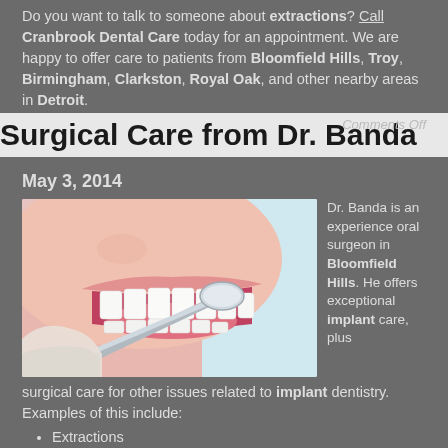Do you want to talk to someone about extractions? Call Cranbrook Dental Care today for an appointment. We are happy to offer care to patients from Bloomfield Hills, Troy, Birmingham, Clarkston, Royal Oak, and other nearby areas in Detroit.
Comments Off
Surgical Care from Dr. Banda
May 3, 2014
[Figure (photo): Close-up photo of a person smiling showing white teeth, with a dental mirror/tool being held near the mouth by a gloved hand.]
Dr. Banda is an experience oral surgeon in Bloomfield Hills. He offers exceptional implant care, plus surgical care for other issues related to implant dentistry. Examples of this include:
Extractions